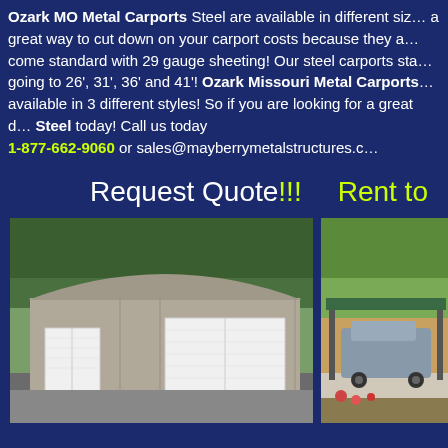Ozark MO Metal Carports Steel are available in different sizes a great way to cut down on your carport costs because they come standard with 29 gauge sheeting! Our steel carports starting going to 26', 31', 36' and 41'! Ozark Missouri Metal Carports available in 3 different styles! So if you are looking for a great Steel today! Call us today 1-877-662-9060 or sales@mayberrymetalstructures.com
Request Quote!!!
Rent to
[Figure (photo): Metal garage building with two white roll-up doors, gray metal siding, arched roof, surrounded by trees]
[Figure (photo): Metal carport structure with green roof covering a vehicle, with fall foliage in background]